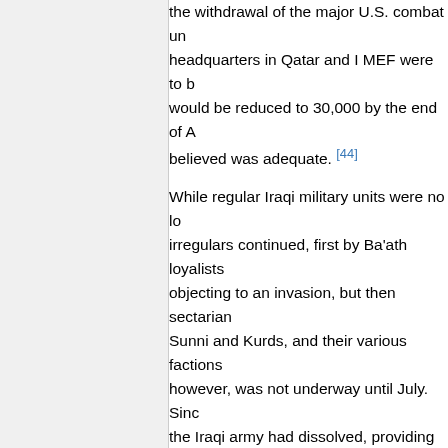the withdrawal of the major U.S. combat units, headquarters in Qatar and I MEF were to be would be reduced to 30,000 by the end of A believed was adequate. [44]
While regular Iraqi military units were no longer active, irregulars continued, first by Ba'ath loyalists objecting to an invasion, but then sectarian Sunni and Kurds, and their various factions however, was not underway until July. Since the Iraqi army had dissolved, providing pop military, which was not organized for it, as, Constabulary in Germany had been.
CFLCC was redesignated Combined Joint May 1, but McKiernan's headquarters was under LTG Wallace. MG Ricardo Sanchez, Armored Division (U.S.) in Germany, was p command of V Corps. According to Sanchez specific Phase IV role for CENTCOM or V C
De-Ba'athification, retention of Army and